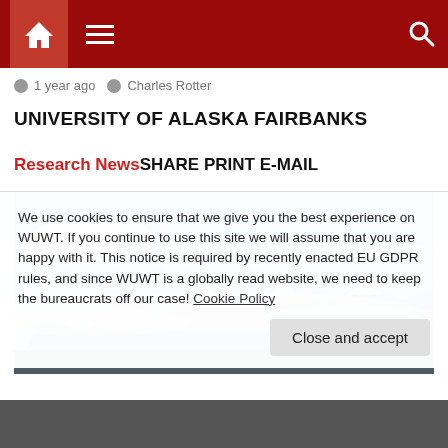Navigation bar with home icon, menu, and search
1 year ago   Charles Rotter
UNIVERSITY OF ALASKA FAIRBANKS
Research NewsSHARE PRINT E-MAIL
[Figure (photo): Aerial panoramic view of snow-capped mountains and clouds, likely Alaska mountain range]
We use cookies to ensure that we give you the best experience on WUWT. If you continue to use this site we will assume that you are happy with it. This notice is required by recently enacted EU GDPR rules, and since WUWT is a globally read website, we need to keep the bureaucrats off our case! Cookie Policy
Close and accept